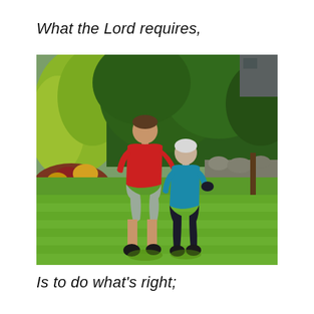What the Lord requires,
[Figure (photo): Two people walking away from the camera across a green lawn. The taller person on the left wears a red t-shirt and gray shorts. The shorter person on the right wears a teal/blue hoodie and dark pants. They appear to be walking arm in arm. Background shows lush green trees and shrubs, with a garden area and stone wall visible on the right side. Bright sunny day.]
Is to do what’s right;